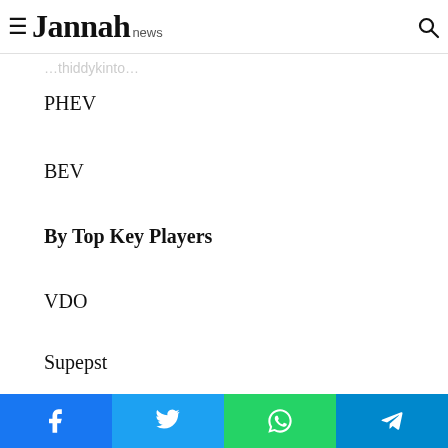Jannah news
PHEV
BEV
By Top Key Players
VDO
Supepst
Philips
HP
Facebook Twitter WhatsApp Telegram